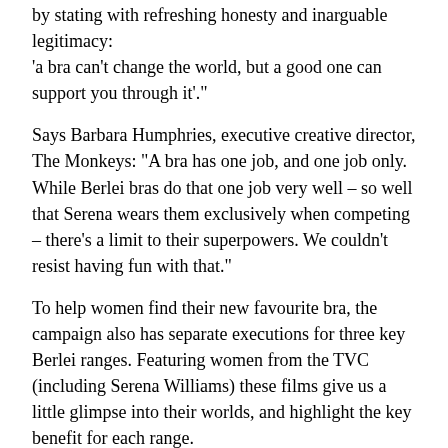by stating with refreshing honesty and inarguable legitimacy: 'a bra can't change the world, but a good one can support you through it'."
Says Barbara Humphries, executive creative director, The Monkeys: "A bra has one job, and one job only. While Berlei bras do that one job very well – so well that Serena wears them exclusively when competing – there's a limit to their superpowers. We couldn't resist having fun with that."
To help women find their new favourite bra, the campaign also has separate executions for three key Berlei ranges. Featuring women from the TVC (including Serena Williams) these films give us a little glimpse into their worlds, and highlight the key benefit for each range.
Client: Berlei
Marketing Manager: Andrea Michelle
Brand Manager: Jade Massaad